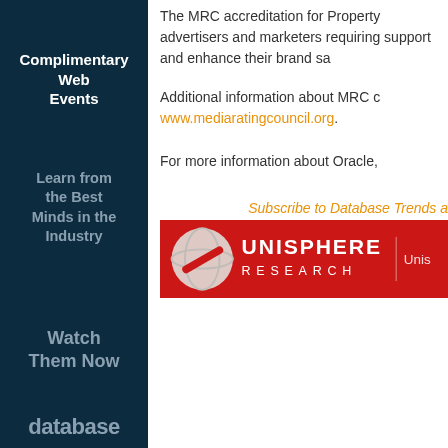The MRC accreditation for Property... advertisers and marketers requiring support and enhance their brand sa...
Additional information about MRC c... www.mediaratingcouncil.org.
For more information about Oracle,
Subscribe to Database Trends a...
[Figure (logo): Unisphere Research banner logo on red background]
Complimentary Web Events
Learn from the Best Minds in the Industry
Watch Them Now
database